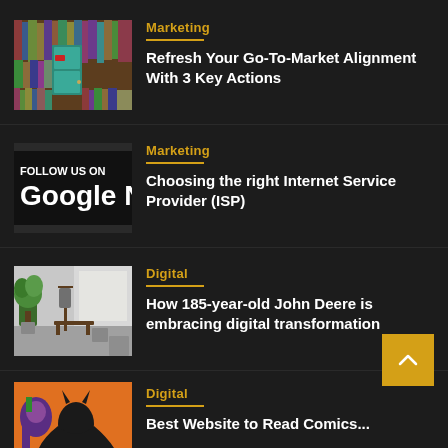Marketing
Refresh Your Go-To-Market Alignment With 3 Key Actions
Marketing
Choosing the right Internet Service Provider (ISP)
Digital
How 185-year-old John Deere is embracing digital transformation
Digital
Best Website to Read Comics...